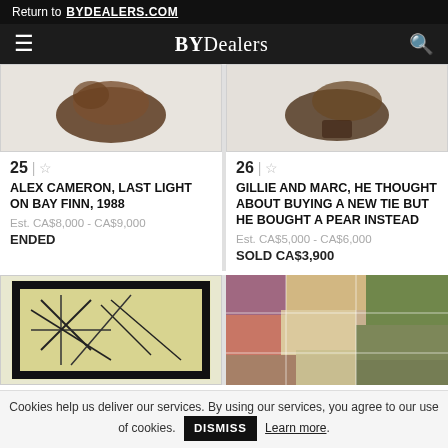Return to BYDEALERS.COM
[Figure (logo): BYDealers navigation bar with hamburger menu and search icon]
[Figure (photo): Item 25 - artwork image, top portion visible, dark bronze-like object on light background]
25 | ☆
ALEX CAMERON, LAST LIGHT ON BAY FINN, 1988
Est. CA$8,000 - CA$9,000
ENDED
[Figure (photo): Item 26 - artwork image, top portion visible, dark bronze-like sculpture on light background]
26 | ☆
GILLIE AND MARC, HE THOUGHT ABOUT BUYING A NEW TIE BUT HE BOUGHT A PEAR INSTEAD
Est. CA$5,000 - CA$6,000
SOLD CA$3,900
[Figure (photo): Bottom left artwork - yellow/green painting with black line abstract drawing in dark frame]
[Figure (photo): Bottom right artwork - colorful mosaic or painting with purple, red and green tones]
Cookies help us deliver our services. By using our services, you agree to our use of cookies. DISMISS Learn more.